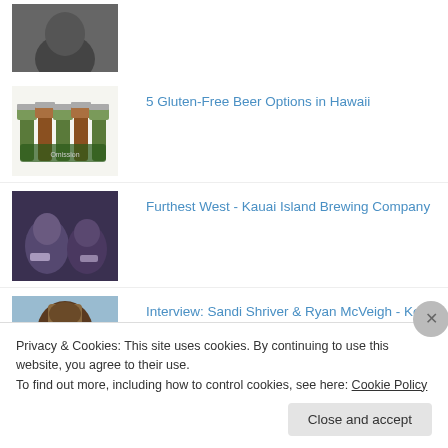[Figure (photo): Partial photo of a person (top of head/shoulders), black and white, cropped at top]
[Figure (photo): Six-pack of green beer bottles in a carrier]
5 Gluten-Free Beer Options in Hawaii
[Figure (photo): Group of people at a bar holding drinks]
Furthest West - Kauai Island Brewing Company
[Figure (photo): Person wearing a hat outdoors]
Interview: Sandi Shriver & Ryan McVeigh - Kona Brewing Company
Privacy & Cookies: This site uses cookies. By continuing to use this website, you agree to their use.
To find out more, including how to control cookies, see here: Cookie Policy